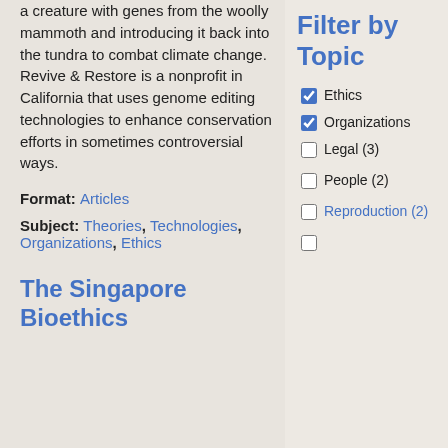a creature with genes from the woolly mammoth and introducing it back into the tundra to combat climate change. Revive & Restore is a nonprofit in California that uses genome editing technologies to enhance conservation efforts in sometimes controversial ways.
Format: Articles
Subject: Theories, Technologies, Organizations, Ethics
The Singapore Bioethics
Filter by Topic
Ethics (checked)
Organizations (checked)
Legal (3) (unchecked)
People (2) (unchecked)
Reproduction (2) (unchecked)